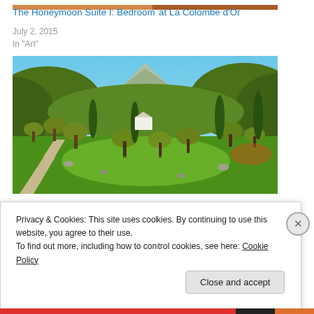[Figure (photo): Partial top strip of a warm-toned bedroom image at La Colombe d'Or]
The Honeymoon Suite I: Bedroom at La Colombe d'Or
July 2, 2015
In "Art"
[Figure (illustration): Illustrated/animated landscape with rolling hills, olive trees, cypress trees, and mountains under a blue sky — a Provence-style Mediterranean scene]
Privacy & Cookies: This site uses cookies. By continuing to use this website, you agree to their use.
To find out more, including how to control cookies, see here: Cookie Policy
Close and accept